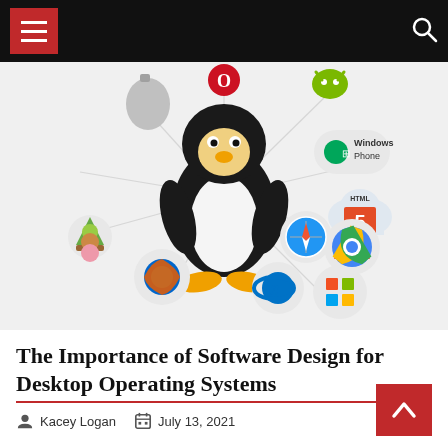Navigation bar with hamburger menu and search icon
[Figure (illustration): Linux Tux penguin mascot in the center surrounded by various operating system and browser logos: Apple, GIMP, Firefox, Internet Explorer, Microsoft Windows, Windows Phone, HTML5, Google Chrome, Safari, Android, Opera]
The Importance of Software Design for Desktop Operating Systems
Kacey Logan   July 13, 2021